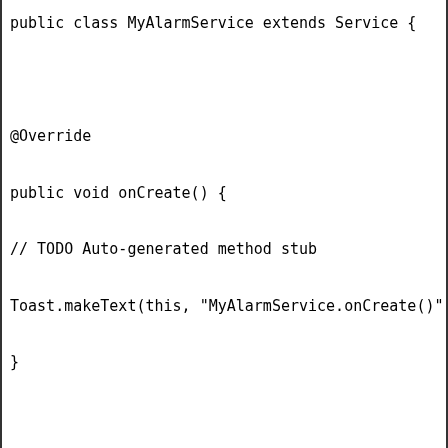public class MyAlarmService extends Service {


@Override

public void onCreate() {

// TODO Auto-generated method stub

Toast.makeText(this, "MyAlarmService.onCreate()", Toast.C

}



@Override

public IBinder onBind(Intent intent) {

// TODO Auto-generated method stub

Toast.makeText(this, "MyAlarmService.onBind()", Toast.LE

return null;